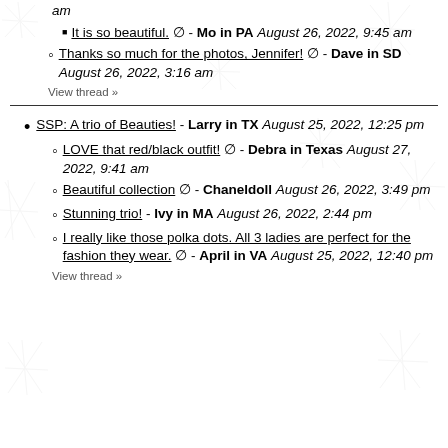It is so beautiful. ⊘ - Mo in PA August 26, 2022, 9:45 am
Thanks so much for the photos, Jennifer! ⊘ - Dave in SD August 26, 2022, 3:16 am
View thread »
SSP: A trio of Beauties! - Larry in TX August 25, 2022, 12:25 pm
LOVE that red/black outfit! ⊘ - Debra in Texas August 27, 2022, 9:41 am
Beautiful collection ⊘ - Chaneldoll August 26, 2022, 3:49 pm
Stunning trio! - Ivy in MA August 26, 2022, 2:44 pm
I really like those polka dots. All 3 ladies are perfect for the fashion they wear. ⊘ - April in VA August 25, 2022, 12:40 pm
View thread »